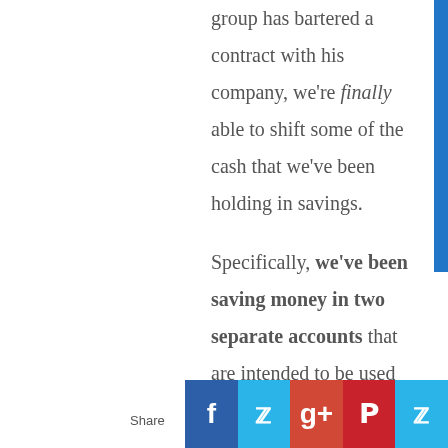group has bartered a contract with his company, we're finally able to shift some of the cash that we've been holding in savings.
Specifically, we've been saving money in two separate accounts that are intended to be used for specific purposes.
Instead of spending the money on the intended investments, we've been keeping it as a buffer in the event